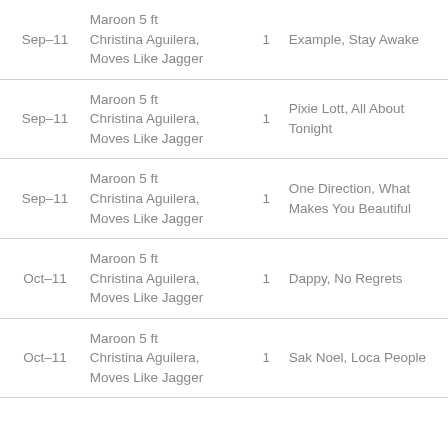| Date | Song | Num | Artist |
| --- | --- | --- | --- |
| Sep-11 | Maroon 5 ft Christina Aguilera, Moves Like Jagger | 1 | Example, Stay Awake |
| Sep-11 | Maroon 5 ft Christina Aguilera, Moves Like Jagger | 1 | Pixie Lott, All About Tonight |
| Sep-11 | Maroon 5 ft Christina Aguilera, Moves Like Jagger | 1 | One Direction, What Makes You Beautiful |
| Oct-11 | Maroon 5 ft Christina Aguilera, Moves Like Jagger | 1 | Dappy, No Regrets |
| Oct-11 | Maroon 5 ft Christina Aguilera, Moves Like Jagger | 1 | Sak Noel, Loca People |